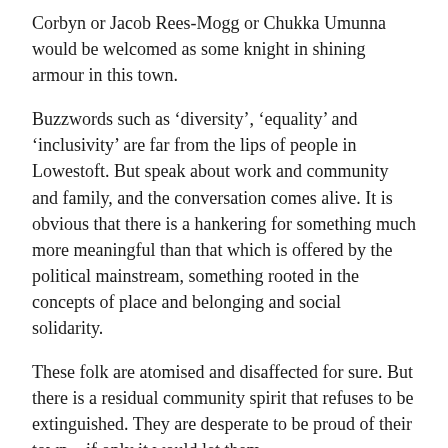Corbyn or Jacob Rees-Mogg or Chukka Umunna would be welcomed as some knight in shining armour in this town.
Buzzwords such as ‘diversity’, ‘equality’ and ‘inclusivity’ are far from the lips of people in Lowestoft. But speak about work and community and family, and the conversation comes alive. It is obvious that there is a hankering for something much more meaningful than that which is offered by the political mainstream, something rooted in the concepts of place and belonging and social solidarity.
These folk are atomised and disaffected for sure. But there is a residual community spirit that refuses to be extinguished. They are desperate to be proud of their town – if only it would let them.